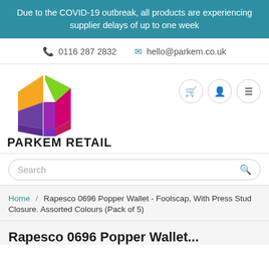Due to the COVID-19 outbreak, all products are experiencing supplier delays of up to one week
0116 287 2832  hello@parkem.co.uk
[Figure (logo): Parkem Retail logo: colorful 3D box with green, orange, purple, and pink panels, with text PARKEM RETAIL below in bold black uppercase]
Search
Home / Rapesco 0696 Popper Wallet - Foolscap, With Press Stud Closure. Assorted Colours (Pack of 5)
Rapesco 0696 Popper Wallet...